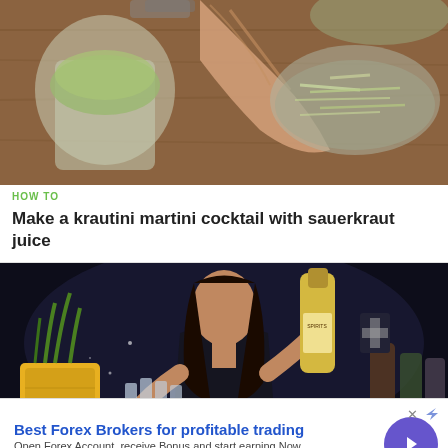[Figure (photo): Top-down view of hands working with shredded cabbage/sauerkraut in glass jars on a wooden surface]
HOW TO
Make a krautini martini cocktail with sauerkraut juice
[Figure (photo): Woman bartender in dark outfit holding cocktail shaker and bottles, with pineapple visible on bar]
Best Forex Brokers for profitable trading
Open Forex Account, receive Bonus and start earning Now
forex-ratings.com